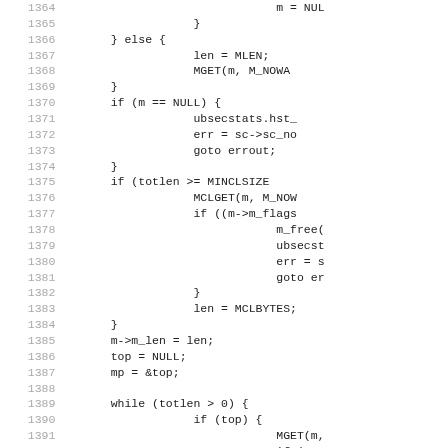Code listing: C source code lines 1364–1395 showing memory allocation logic with NULL checks, mbuf operations, and a while loop.